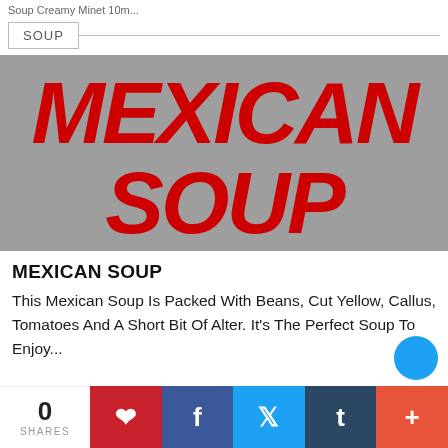Soup Creamy Minet 10m...
SOUP
[Figure (illustration): Large gray banner image with hand-lettered brush-style red text reading MEXICAN SOUP in two lines on a gray background]
MEXICAN SOUP
This Mexican Soup Is Packed With Beans, Cut Yellow, Callus, Tomatoes And A Short Bit Of Alter. It's The Perfect Soup To Enjoy...